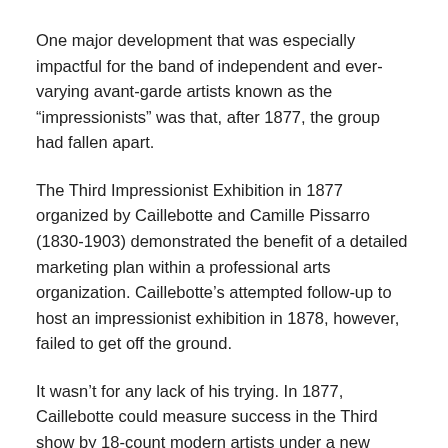One major development that was especially impactful for the band of independent and ever-varying avant-garde artists known as the “impressionists” was that, after 1877, the group had fallen apart.
The Third Impressionist Exhibition in 1877 organized by Caillebotte and Camille Pissarro (1830-1903) demonstrated the benefit of a detailed marketing plan within a professional arts organization. Caillebotte’s attempted follow-up to host an impressionist exhibition in 1878, however, failed to get off the ground.
It wasn’t for any lack of his trying. In 1877, Caillebotte could measure success in the Third show by 18-count modern artists under a new brand name, along with 230 works. Show attendance numbers were up from the first and second exhibitions almost four fold. Picture sales were up.